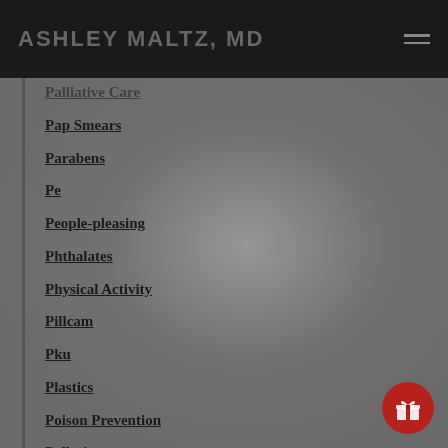ASHLEY MALTZ, MD
Palliative Care
Pap Smears
Parabens
Pe
People-pleasing
Phthalates
Physical Activity
Pillcam
Pku
Plastics
Poison Prevention
Pollution
Potato Chips
Poverty And Diabetes
Poverty And Obesity
Prediabetes
President